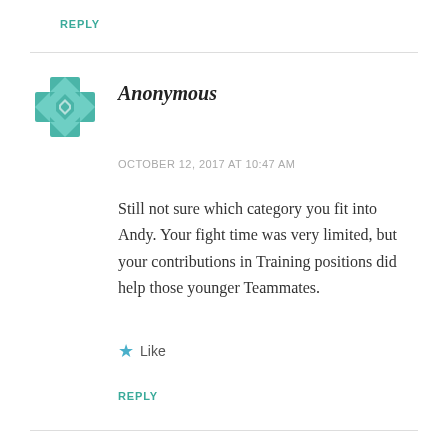REPLY
[Figure (illustration): Teal geometric mandala-style avatar icon with cross and diamond pattern]
Anonymous
OCTOBER 12, 2017 AT 10:47 AM
Still not sure which category you fit into Andy. Your fight time was very limited, but your contributions in Training positions did help those younger Teammates.
Like
REPLY